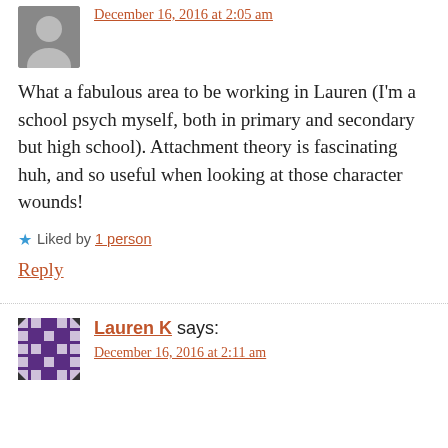December 16, 2016 at 2:05 am
What a fabulous area to be working in Lauren (I'm a school psych myself, both in primary and secondary but high school). Attachment theory is fascinating huh, and so useful when looking at those character wounds!
★ Liked by 1 person
Reply
Lauren K says:
December 16, 2016 at 2:11 am